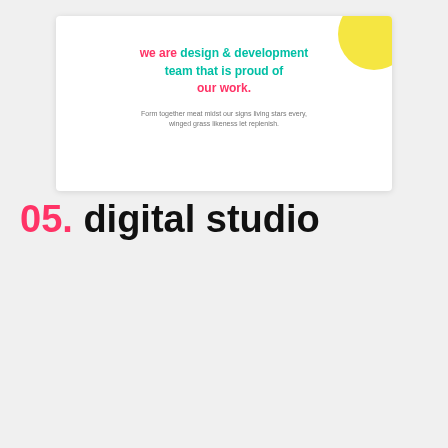[Figure (screenshot): Website mockup showing a design and development team hero section with centered heading text, yellow decorative blob in top right corner, white background card with shadow]
we are design & development team that is proud of our work.
Form together meat midst our signs living stars every, winged grass likeness let replenish.
05. digital studio
[Figure (screenshot): Website mockup for Leedo creative branding agency. Shows sidebar navigation with Home, About, Portfolio, Blog, Pages, Shop links. Main content area with pink brush stroke, teal quarter circle, yellow dog circle, dot pattern, hero text 'hello! we are creative branding agency.', filter tags ALL DESIGN BRANDING GRAPHIC DESIGN INSPIRATION PHOTOGRAPHY, and three portfolio thumbnail images in teal, pink, and yellow.]